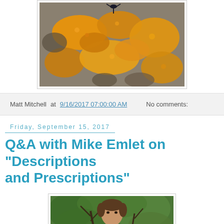[Figure (photo): Close-up photo of orange/yellow lichen growing on rock, with a dark insect visible at the top]
Matt Mitchell at 9/16/2017 07:00:00 AM   No comments:
Friday, September 15, 2017
Q&A with Mike Emlet on "Descriptions and Prescriptions"
[Figure (photo): Portrait photo of a man outdoors with trees in background]